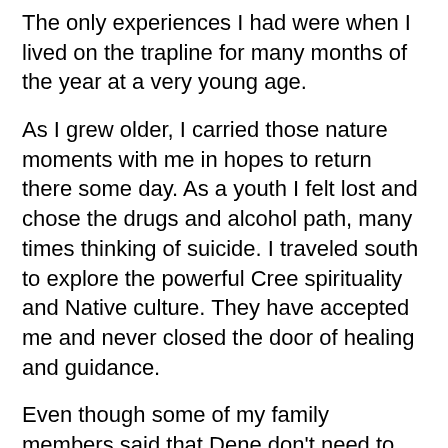The only experiences I had were when I lived on the trapline for many months of the year at a very young age.
As I grew older, I carried those nature moments with me in hopes to return there some day. As a youth I felt lost and chose the drugs and alcohol path, many times thinking of suicide. I traveled south to explore the powerful Cree spirituality and Native culture. They have accepted me and never closed the door of healing and guidance.
Even though some of my family members said that Dene don't need to attend the sweatlodges, I still needed somewhere to go to rid me of the ghosts and negative energies that were deep inside. The guiding Elders showed love and are always eager to help the young people find their path for the journey of life.
As a Dene I kow I will not go as far as dancing the